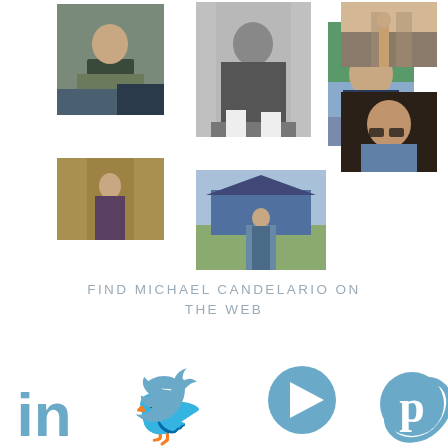[Figure (photo): Man standing in modern interior, casual clothing]
[Figure (photo): Man sitting on steps, black and white photo]
[Figure (photo): Man sitting at desk, green background]
[Figure (photo): Man standing in construction site interior]
[Figure (photo): Man in suit with glasses, portrait]
[Figure (photo): Man standing in doorway/corridor]
[Figure (photo): Man standing in front of house]
FIND MICHAEL CANDELARIO ON THE WEB
[Figure (illustration): Social media icons: LinkedIn, Twitter, YouTube, Pinterest in steel blue color]